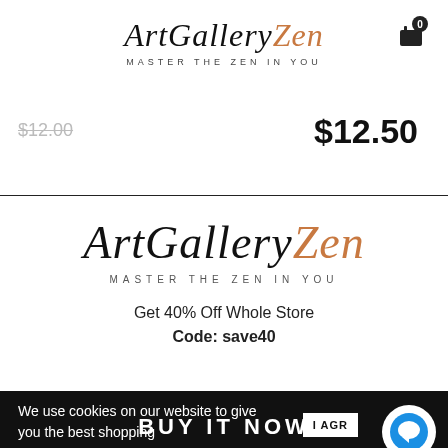ArtGalleryZen — MASTER THE ZEN IN YOU
$12.50
[Figure (logo): ArtGalleryZen logo large with tagline MASTER THE ZEN IN YOU]
Get 40% Off Whole Store
Code: save40
We use cookies on our website to give you the best shopping
I AGRE
BUY IT NOW